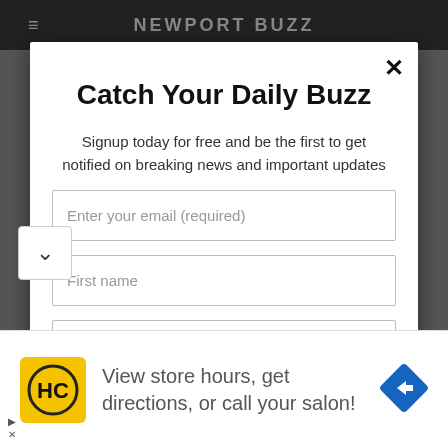NEWPORT BUZZ
Catch Your Daily Buzz
Signup today for free and be the first to get notified on breaking news and important updates
Enter your email (required)
First name
Last name
[Figure (screenshot): Advertisement banner: HC logo, text 'View store hours, get directions, or call your salon!', blue diamond arrow icon]
View store hours, get directions, or call your salon!